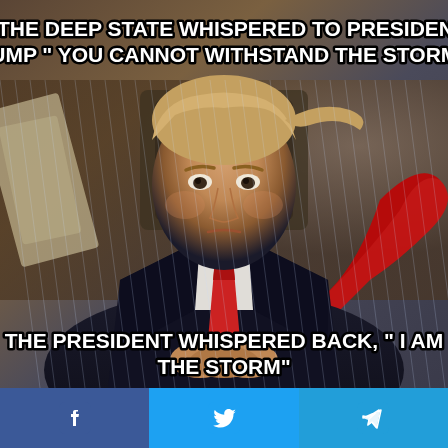[Figure (photo): Political meme image showing a man in a dark suit sitting at a desk in stormy conditions with a red tie blowing in the wind. Rain is visible in the background. Bold white text with black outline overlays the image at top and bottom.]
" THE DEEP STATE WHISPERED TO PRESIDENT TRUMP " YOU CANNOT WITHSTAND THE STORM"...
THE PRESIDENT WHISPERED BACK, " I AM THE STORM"
[Figure (infographic): Social share bar at the bottom with three buttons: Facebook (blue #3b5998), Twitter (light blue #1da1f2), and Telegram (blue #229ed9), each showing their respective icons.]